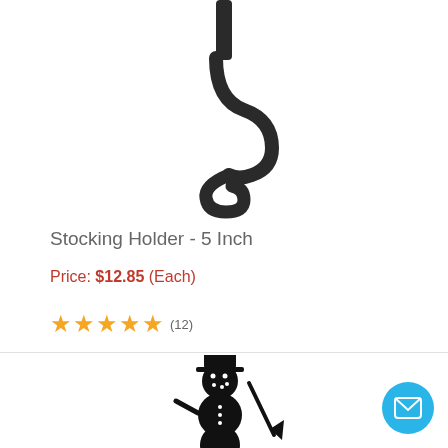[Figure (photo): Black metal S-shaped stocking holder hook, 5 inch, shown on white background]
Stocking Holder - 5 Inch
Price: $12.85 (Each)
★★★★★ (12)
[Figure (illustration): Black silhouette of a snowman wearing a top hat and holding a broom, mounted on a stocking holder hook base]